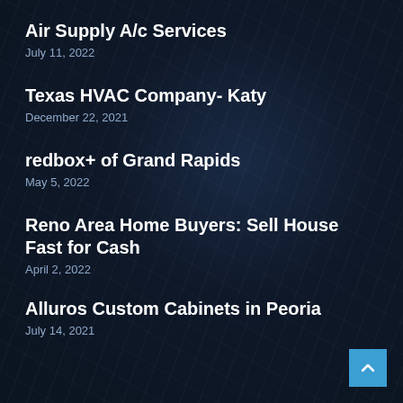Air Supply A/c Services
July 11, 2022
Texas HVAC Company- Katy
December 22, 2021
redbox+ of Grand Rapids
May 5, 2022
Reno Area Home Buyers: Sell House Fast for Cash
April 2, 2022
Alluros Custom Cabinets in Peoria
July 14, 2021